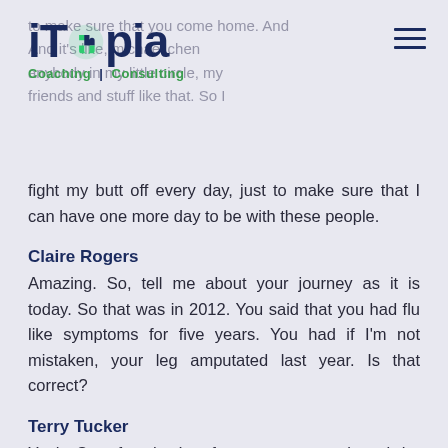[Figure (logo): iTopia Coaching | Consulting logo with puzzle piece icon and green/navy color scheme]
fight my butt off every day, just to make sure that I can have one more day to be with these people.
Claire Rogers
Amazing. So, tell me about your journey as it is today. So that was in 2012. You said that you had flu like symptoms for five years. You had if I'm not mistaken, your leg amputated last year. Is that correct?
Terry Tucker
Yeah. So, after the Interferon was stopped, and the disease came back in 2017, and in January of 2018, I had my left foot amputated. That was the first amputation. The disease came back again in 2019 in my shin; I had a couple of surgeries there. And then last year an